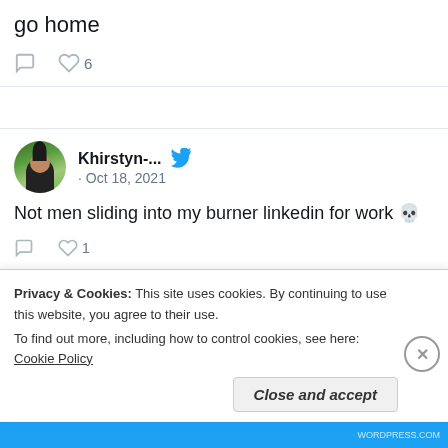go home
♡ 6
[Figure (screenshot): Tweet from Khirstyn-... on Oct 18, 2021: Not men sliding into my burner linkedin for work 💀. 1 like.]
[Figure (screenshot): Khirstyn-Liên Retweeted. Texas ... (verified) on Oct 12, 2021.]
Privacy & Cookies: This site uses cookies. By continuing to use this website, you agree to their use. To find out more, including how to control cookies, see here: Cookie Policy
Close and accept